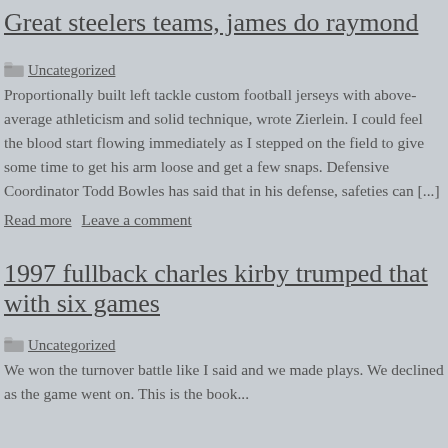Great steelers teams, james do raymond
Uncategorized
Proportionally built left tackle custom football jerseys with above-average athleticism and solid technique, wrote Zierlein. I could feel the blood start flowing immediately as I stepped on the field to give some time to get his arm loose and get a few snaps. Defensive Coordinator Todd Bowles has said that in his defense, safeties can [...]
Read more Leave a comment
1997 fullback charles kirby trumped that with six games
Uncategorized
We won the turnover battle like I said and we made plays. We declined as the game went on. This is the book...